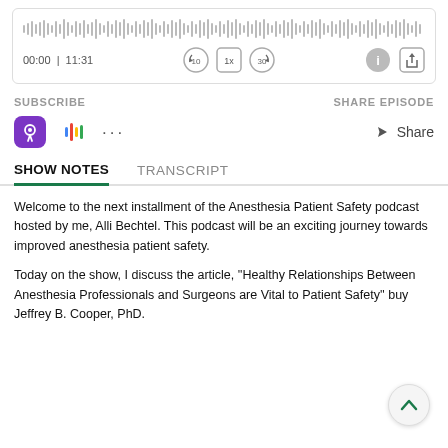[Figure (screenshot): Audio player widget with waveform, time display (00:00 | 11:31), and playback controls (rewind 10, 1x speed, forward 30, info, share)]
SUBSCRIBE
SHARE EPISODE
[Figure (screenshot): Podcast subscription icons: Apple Podcasts (purple), Google Podcasts (colored bars), more options (dots)]
Share
SHOW NOTES
TRANSCRIPT
Welcome to the next installment of the Anesthesia Patient Safety podcast hosted by me, Alli Bechtel.  This podcast will be an exciting journey towards improved anesthesia patient safety.
Today on the show, I discuss the article, ''Healthy Relationships Between Anesthesia Professionals and Surgeons are Vital to Patient Safety'' buy Jeffrey B. Cooper, PhD.